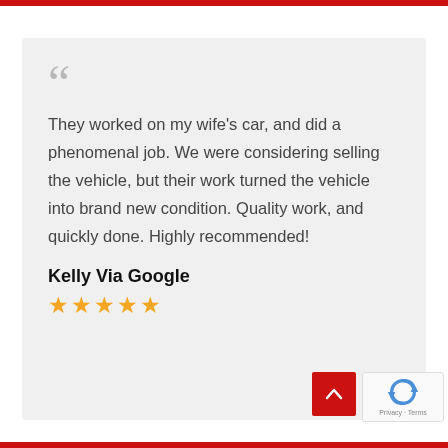They worked on my wife's car, and did a phenomenal job. We were considering selling the vehicle, but their work turned the vehicle into brand new condition. Quality work, and quickly done. Highly recommended!
Kelly Via Google
★★★★★